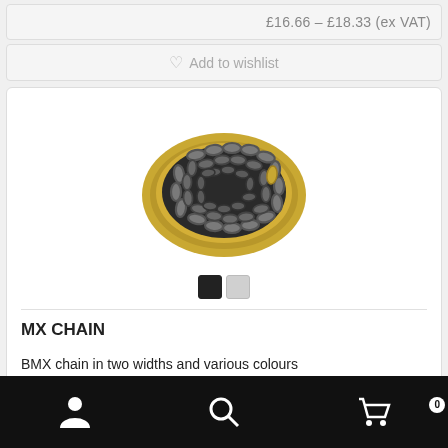£16.66 – £18.33 (ex VAT)
♡ Add to wishlist
[Figure (photo): BMX chain coiled inside a round gold/brass-colored dish, viewed from above]
MX CHAIN
BMX chain in two widths and various colours
User icon | Search icon | Cart icon (0)